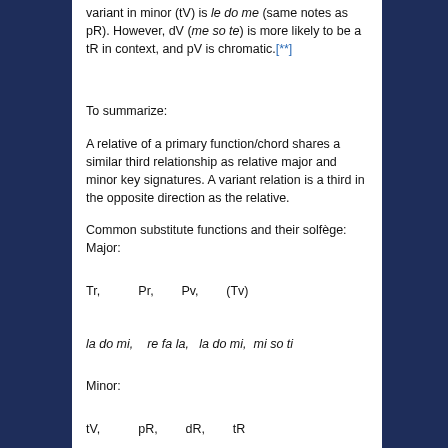variant in minor (tV) is le do me (same notes as pR). However, dV (me so te) is more likely to be a tR in context, and pV is chromatic.[**]
To summarize:
A relative of a primary function/chord shares a similar third relationship as relative major and minor key signatures. A variant relation is a third in the opposite direction as the relative.
Common substitute functions and their solfège:
Major:
Tr,          Pr,          Pv,          (Tv)
la do mi,    re fa la,   la do mi,   mi so ti
Minor:
tV,          pR,          dR,          tR